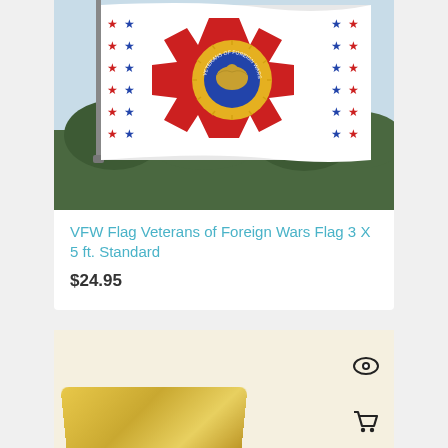[Figure (photo): VFW Flag Veterans of Foreign Wars Flag displayed on a flagpole with red, white and blue stars and the VFW emblem, with trees in background]
VFW Flag Veterans of Foreign Wars Flag 3 X 5 ft. Standard
$24.95
[Figure (photo): Bottom product card showing a golden/yellow colored item with eye and shopping cart icons]